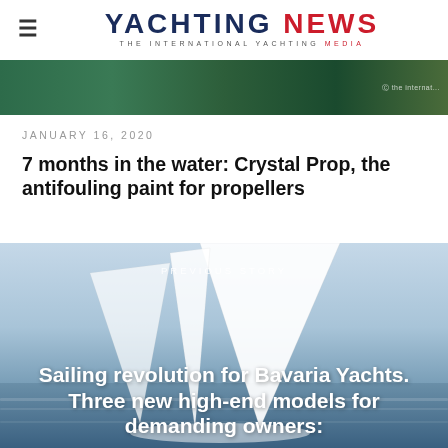YACHTING NEWS — THE INTERNATIONAL YACHTING MEDIA
[Figure (photo): Dark green banner image strip at the top of the page with a watermark in the bottom right corner]
JANUARY 16, 2020
7 months in the water: Crystal Prop, the antifouling paint for propellers
[Figure (photo): Sailing yacht photo showing white sails against a blue sky and sea background, used as background for previous story navigation section]
PREVIOUS STORY
Sailing revolution for Bavaria Yachts. Three new high-end models for demanding owners: